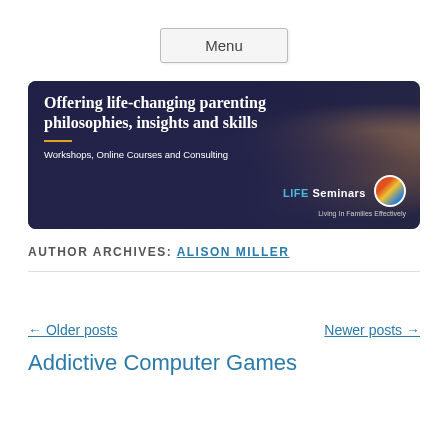Menu
[Figure (photo): Banner image showing a seminar/workshop audience seated in a room with a presenter standing. Text overlay reads: 'Offering life-changing parenting philosophies, insights and skills' and 'Workshops, Online Courses and Consulting'. LIFE Seminars logo in bottom right.]
AUTHOR ARCHIVES: ALISON MILLER
← Older posts
Newer posts →
Addictive Computer Games